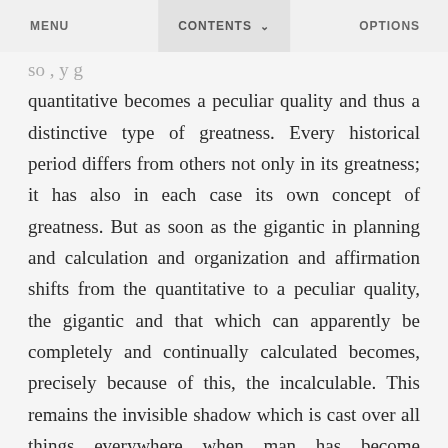MENU   CONTENTS   OPTIONS
quantitative becomes a peculiar quality and thus a distinctive type of greatness. Every historical period differs from others not only in its greatness; it has also in each case its own concept of greatness. But as soon as the gigantic in planning and calculation and organization and affirmation shifts from the quantitative to a peculiar quality, the gigantic and that which can apparently be completely and continually calculated becomes, precisely because of this, the incalculable. This remains the invisible shadow which is cast over all things everywhere when man has become subjectum and the world a view.

Through this shadow the modern world